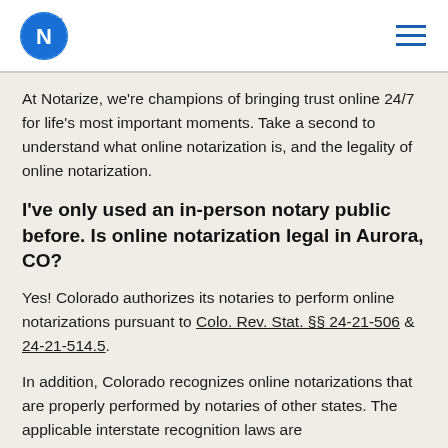Notarize logo and navigation
At Notarize, we're champions of bringing trust online 24/7 for life's most important moments. Take a second to understand what online notarization is, and the legality of online notarization.
I've only used an in-person notary public before. Is online notarization legal in Aurora, CO?
Yes! Colorado authorizes its notaries to perform online notarizations pursuant to Colo. Rev. Stat. §§ 24-21-506 & 24-21-514.5.
In addition, Colorado recognizes online notarizations that are properly performed by notaries of other states. The applicable interstate recognition laws are